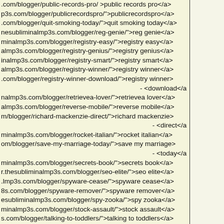.com/blogger/public-records-pro/ >public records pro</a>
p3s.com/blogger/publicrecordspro/">publicrecordspro</a>
.com/blogger/quit-smoking-today/">quit smoking today</a>
nesubliminalmp3s.com/blogger/reg-genie/">reg genie</a>
minalmp3s.com/blogger/registry-easy/">registry easy</a>
almp3s.com/blogger/registry-genius/">registry genius</a>
inalmp3s.com/blogger/registry-smart/">registry smart</a>
almp3s.com/blogger/registry-winner/">registry winner</a>
.com/blogger/registry-winner-download/">registry winner>
- <download</a
nalmp3s.com/blogger/retrievea-lover/">retrievea lover</a>
almp3s.com/blogger/reverse-mobile/">reverse mobile</a>
m/blogger/richard-mackenzie-direct/">richard mackenzie>
- <direct</a
minalmp3s.com/blogger/rocket-italian/">rocket italian</a>
om/blogger/save-my-marriage-today/">save my marriage>
- <today</a
minalmp3s.com/blogger/secrets-book/">secrets book</a>
r.thesubliminalmp3s.com/blogger/seo-elite/">seo elite</a>
.lmp3s.com/blogger/spyware-cease/">spyware cease</a>
8s.com/blogger/spyware-remover/">spyware remover</a>
esubliminalmp3s.com/blogger/spy-zooka/">spy zooka</a>
minalmp3s.com/blogger/stock-assault/">stock assault</a>
s.com/blogger/talking-to-toddlers/">talking to toddlers</a>
om/blogger/the-action-machine/">the action machine</a>
blogger/the-bad-breath-report/">the bad breath report</a>
-
om/blogger/thebadbreathreport/">thebadbreathreport</a>
.com/blogger/the-diet-solution-program/">the diet solution>
- <program</a